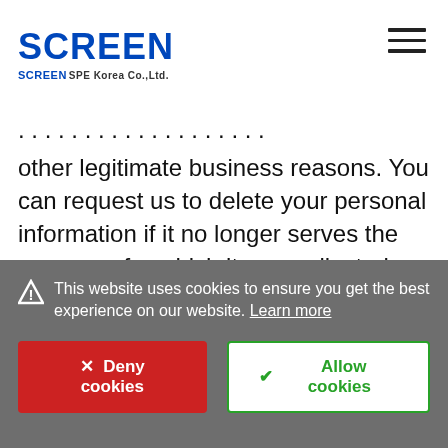SCREEN | SCREEN SPE Korea Co.,Ltd.
other legitimate business reasons. You can request us to delete your personal information if it no longer serves the purposes for which it was collected, used, or otherwise processed. We destruct personal data stored in electronic file format by archiving it into a separate database in which the information is irretrievable through our ordinary course of business, or using technical means which make it impossible
This website uses cookies to ensure you get the best experience on our website. Learn more
Deny cookies | Allow cookies